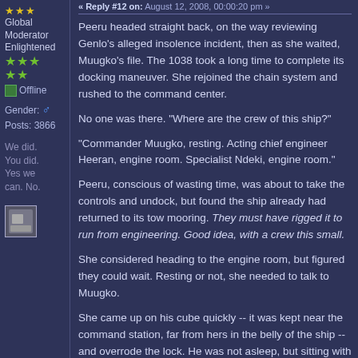« Reply #12 on: August 12, 2008, 00:00:20 pm »
Global Moderator Enlightened
Offline
Gender: ♂  Posts: 3866
We did. You did. Yes we can. No.
Peeru headed straight back, on the way reviewing Genlo's alleged insolence incident, then as she waited, Muugko's file. The 1038 took a long time to complete its docking maneuver. She rejoined the chain system and rushed to the command center.
No one was there. "Where are the crew of this ship?"
"Commander Muugko, resting. Acting chief engineer Heeran, engine room. Specialist Ndeki, engine room."
Peeru, conscious of wasting time, was about to take the controls and undock, but found the ship already had returned to its tow mooring. They must have rigged it to run from engineering. Good idea, with a crew this small.
She considered heading to the engine room, but figured they could wait. Resting or not, she needed to talk to Muugko.
She came up on his cube quickly -- it was kept near the command station, far from hers in the belly of the ship -- and overrode the lock. He was not asleep, but sitting with closed eyes.
"Lieutenant."